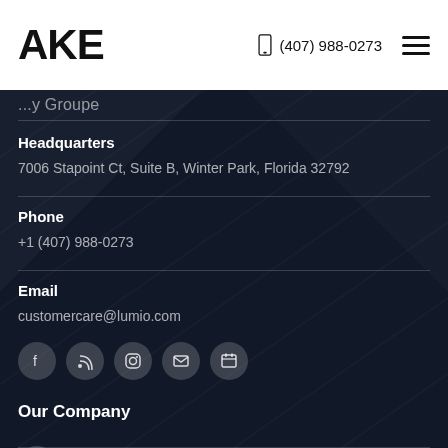AKE  (407) 988-0273
Headquarters
7006 Stapoint Ct, Suite B, Winter Park, Florida 32792
Phone
+1 (407) 988-0273
Email
customercare@lumio.com
[Figure (other): Row of 5 social media icons (Facebook, RSS, Instagram, Email, Calendar) in circular dark buttons]
Our Company
Atlantic Key Energy